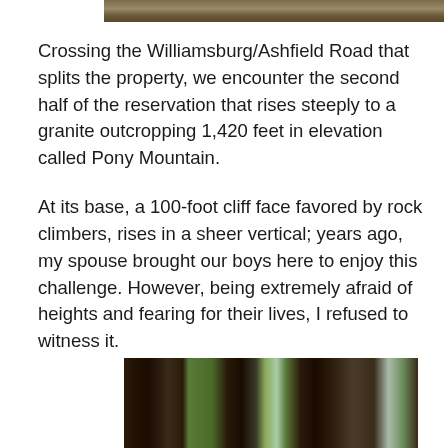[Figure (photo): Partial top edge of a nature/outdoor photo showing rocks or forest floor, cropped at top of page]
Crossing the Williamsburg/Ashfield Road that splits the property, we encounter the second half of the reservation that rises steeply to a granite outcropping 1,420 feet in elevation called Pony Mountain.
At its base, a 100-foot cliff face favored by rock climbers, rises in a sheer vertical; years ago, my spouse brought our boys here to enjoy this challenge. However, being extremely afraid of heights and fearing for their lives, I refused to witness it.
[Figure (photo): Tall pine/conifer trees in a forest with green undergrowth and light filtering through the canopy]